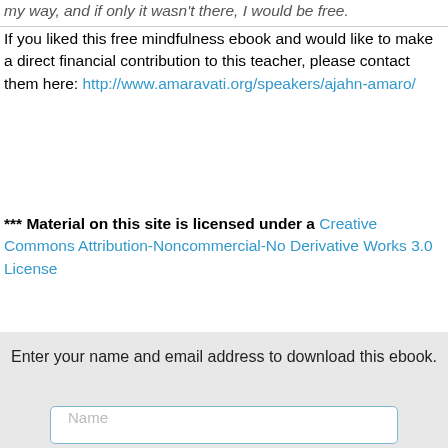my way, and if only it wasn't there, I would be free.
If you liked this free mindfulness ebook and would like to make a direct financial contribution to this teacher, please contact them here: http://www.amaravati.org/speakers/ajahn-amaro/
*** Material on this site is licensed under a Creative Commons Attribution-Noncommercial-No Derivative Works 3.0 License
Enter your name and email address to download this ebook.
Name